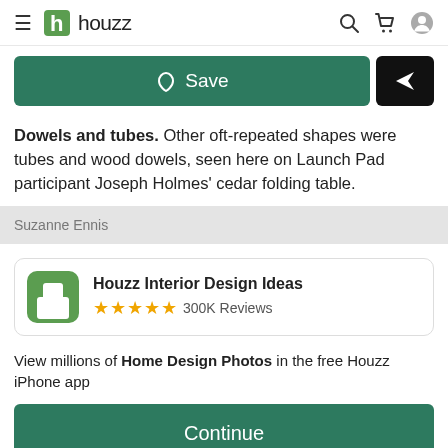Houzz
[Figure (screenshot): Save button (green) and share/send button (black)]
Dowels and tubes. Other oft-repeated shapes were tubes and wood dowels, seen here on Launch Pad participant Joseph Holmes' cedar folding table.
Suzanne Ennis
[Figure (screenshot): Houzz app promo card with green icon, 5 stars, 300K Reviews, and Continue button]
View millions of Home Design Photos in the free Houzz iPhone app
Go to Mobile Site